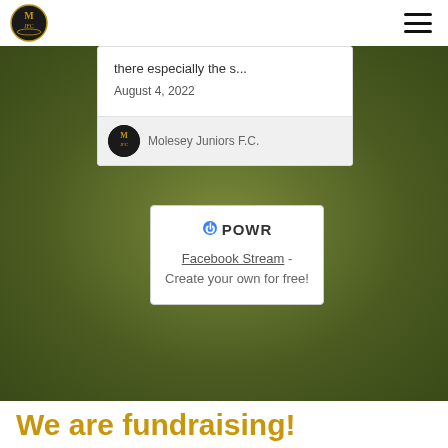Molesey Juniors F.C. logo and navigation
there especially the s...
August 4, 2022
Molesey Juniors F.C.
[Figure (logo): POWR logo with Facebook Stream - Create your own for free! widget advertisement]
We are fundraising!